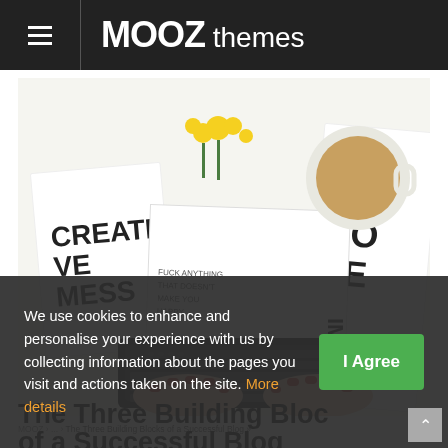MOOZ themes
[Figure (photo): Person with red nails typing on a black keyboard surrounded by typographic books/magazines with bold text designs, yellow flowers, and a coffee cup on a white desk]
MOOZ ... The Three Building Blocks of a Successful Blog >>
The Three Building Blocks of a Successful Blog
We use cookies to enhance and personalise your experience with us by collecting information about the pages you visit and actions taken on the site. More details
I Agree